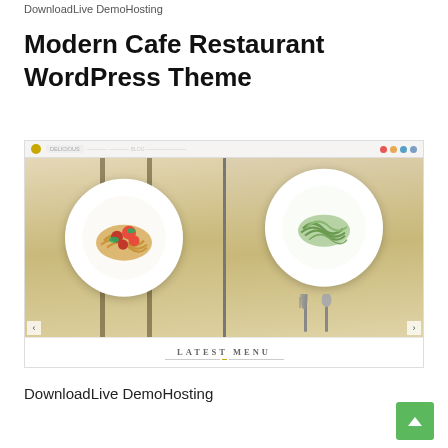DownloadLive DemoHosting
Modern Cafe Restaurant WordPress Theme
[Figure (screenshot): Screenshot of a WordPress theme called 'Delicious' for a modern cafe restaurant, showing a browser chrome bar and a food/restaurant website with two food images side by side (pasta dishes) and a 'LATEST MENU' section below.]
DownloadLive DemoHosting